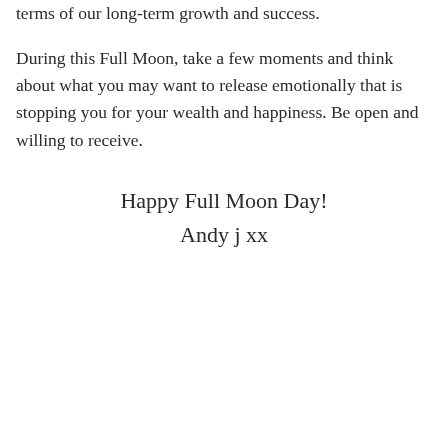terms of our long-term growth and success.
During this Full Moon, take a few moments and think about what you may want to release emotionally that is stopping you for your wealth and happiness. Be open and willing to receive.
Happy Full Moon Day!
Andy j xx